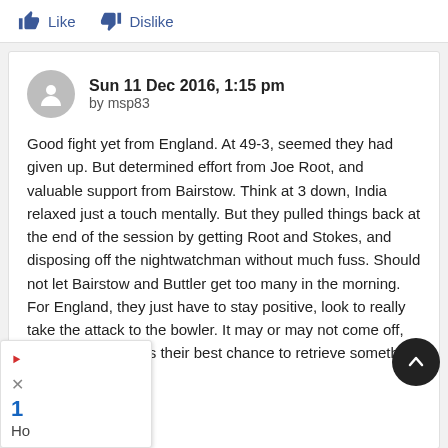Like   Dislike
Sun 11 Dec 2016, 1:15 pm
by msp83
Good fight yet from England. At 49-3, seemed they had given up. But determined effort from Joe Root, and valuable support from Bairstow. Think at 3 down, India relaxed just a touch mentally. But they pulled things back at the end of the session by getting Root and Stokes, and disposing off the nightwatchman without much fuss. Should not let Bairstow and Buttler get too many in the morning. For England, they just have to stay positive, look to really take the attack to the bowler. It may or may not come off, but if it does, that is their best chance to retrieve something from a situ... innin...